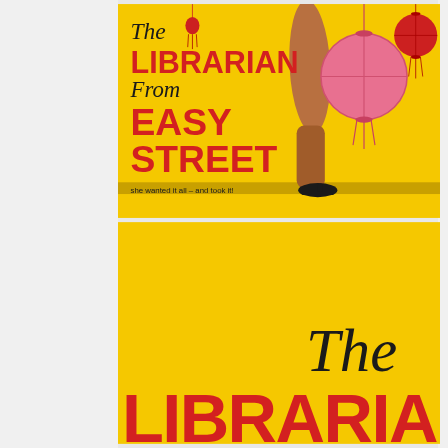[Figure (illustration): Book cover for 'The Librarian From Easy Street' showing a yellow background with a woman's legs in high heels and Chinese lanterns. Title text in red bold and black italic. Tagline: 'she wanted it all - and took it!']
[Figure (illustration): Back or alternate view of same book cover 'The Librarian From Easy Street' showing yellow background with 'The' in black italic script and 'LIBRARIAN' in large red bold text at bottom.]